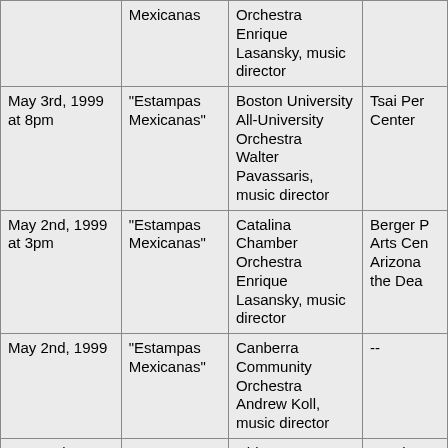| Date | Work | Performer(s) | Venue |
| --- | --- | --- | --- |
|  | Mexicanas | Orchestra
Enrique Lasansky, music director |  |
| May 3rd, 1999 at 8pm | "Estampas Mexicanas" | Boston University All-University Orchestra
Walter Pavassaris, music director | Tsai Per Center |
| May 2nd, 1999 at 3pm | "Estampas Mexicanas" | Catalina Chamber Orchestra
Enrique Lasansky, music director | Berger P Arts Cen Arizona the Dea |
| May 2nd, 1999 | "Estampas Mexicanas" | Canberra Community Orchestra
Andrew Koll, music director | -- |
| May 2nd, 1999 | "Estampas Mexicanas" | Chicago Businessmen's Orchestra
Thomas Weyland, music director | St. Vince - De Pau |
| May 2nd, 1999 | "Princesa de Hadas" | Masumi Yoneyama, flute
Maria Laura Tumbeiro, piano | First Par Church |
| May 1st, 1999 at 8pm | "Estampas Mexicanas" | Catalina Chamber Orchestra
Enrique Lasansky, music director | Berger P Arts Cen Arizona the Dea |
| May 1st, 1999 | "Estampas Mexicanas" | Canberra Community Orchestra
Andrew Koll, music director | -- |